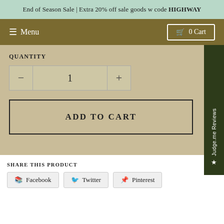End of Season Sale | Extra 20% off sale goods w code HIGHWAY
≡ Menu
🛒 0 Cart
QUANTITY
1
ADD TO CART
★ Judge.me Reviews
SHARE THIS PRODUCT
Facebook
Twitter
Pinterest